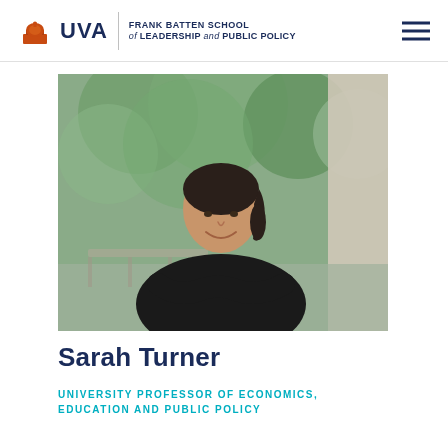UVA Frank Batten School of Leadership and Public Policy
[Figure (photo): Portrait photo of Sarah Turner, a woman with dark hair pulled back, wearing a black long-sleeve top, arms crossed, smiling, photographed outdoors with blurred green foliage in the background.]
Sarah Turner
UNIVERSITY PROFESSOR OF ECONOMICS, EDUCATION AND PUBLIC POLICY